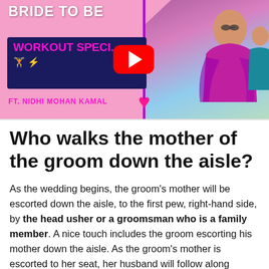[Figure (screenshot): YouTube video thumbnail for 'Bride To Be Workout Special ft. Nidhi Mohan Kamal' — pink background with navy box, YouTube play button overlay, woman in purple saree on right side, pink hearts decorating the image]
Who walks the mother of the groom down the aisle?
As the wedding begins, the groom's mother will be escorted down the aisle, to the first pew, right-hand side, by the head usher or a groomsman who is a family member. A nice touch includes the groom escorting his mother down the aisle. As the groom's mother is escorted to her seat, her husband will follow along behind.